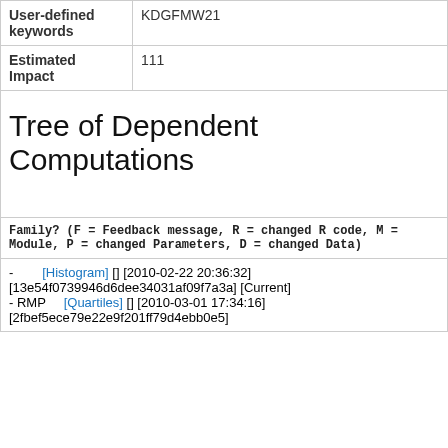| User-defined keywords | KDGFMW21 |
| --- | --- |
| Estimated Impact | 111 |
Tree of Dependent Computations
| Family? (F = Feedback message, R = changed R code, M = Module, P = changed Parameters, D = changed Data) |
| --- |
| - [Histogram] [] [2010-02-22 20:36:32]
[13e54f0739946d6dee34031af09f7a3a] [Current]
- RMP [Quartiles] [] [2010-03-01 17:34:16]
[2fbef5ece79e22e9f201ff79d4ebb0e5] |